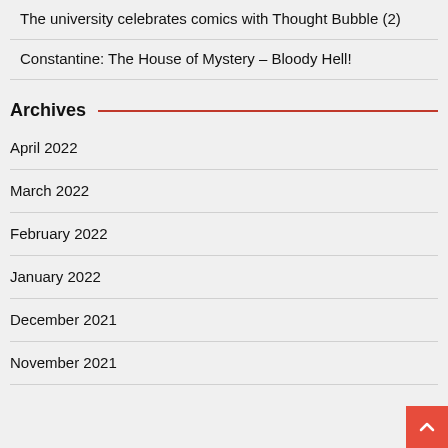The university celebrates comics with Thought Bubble (2)
Constantine: The House of Mystery – Bloody Hell!
Archives
April 2022
March 2022
February 2022
January 2022
December 2021
November 2021